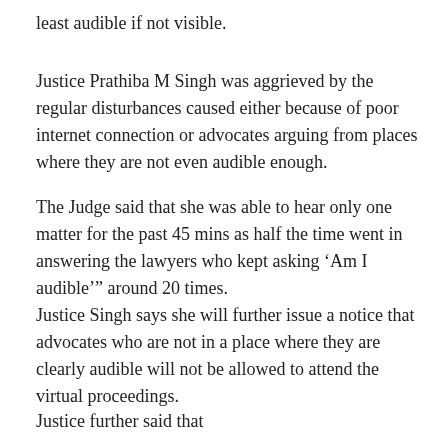least audible if not visible.
Justice Prathiba M Singh was aggrieved by the regular disturbances caused either because of poor internet connection or advocates arguing from places where they are not even audible enough.
The Judge said that she was able to hear only one matter for the past 45 mins as half the time went in answering the lawyers who kept asking ‘Am I audible’” around 20 times.
Justice Singh says she will further issue a notice that advocates who are not in a place where they are clearly audible will not be allowed to attend the virtual proceedings.
Justice further said that